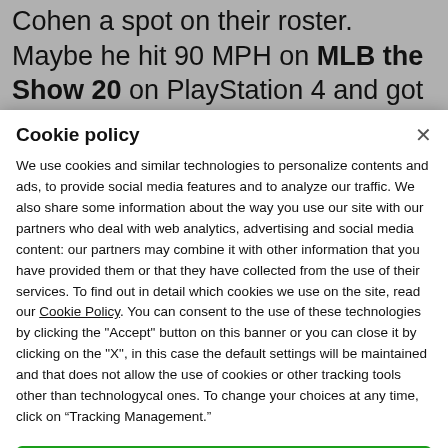Cohen a spot on their roster. Maybe he hit 90 MPH on MLB the Show 20 on PlayStation 4 and got confused from real-life baseball and video game
Cookie policy
We use cookies and similar technologies to personalize contents and ads, to provide social media features and to analyze our traffic. We also share some information about the way you use our site with our partners who deal with web analytics, advertising and social media content: our partners may combine it with other information that you have provided them or that they have collected from the use of their services. To find out in detail which cookies we use on the site, read our Cookie Policy. You can consent to the use of these technologies by clicking the "Accept" button on this banner or you can close it by clicking on the "X", in this case the default settings will be maintained and that does not allow the use of cookies or other tracking tools other than technologycal ones. To change your choices at any time, click on “Tracking Management.”
ACCEPT
TRACKERS MANAGEMENT
Show vendors | Show purposes